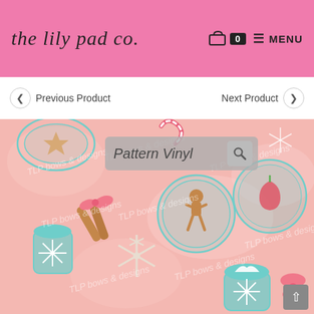the lily pad co. — 🛒 0 ☰ MENU
❮ Previous Product   Next Product ❯
[Figure (illustration): Holiday-themed pattern vinyl product image featuring a pastel pink background with gingerbread cookies, candy canes, snowflakes, teal ornament jars, bows, cinnamon sticks, and hot cocoa cups. Watermarked with 'TLP bows & designs' repeated pattern. Label overlay reads 'Pattern Vinyl' with a search icon.]
Pattern Vinyl